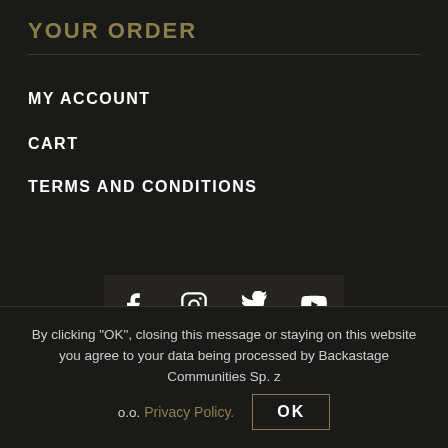YOUR ORDER
MY ACCOUNT
CART
TERMS AND CONDITIONS
[Figure (other): Social media icons: Facebook, Instagram, Twitter, YouTube]
OFFICIAL RIVERSIDE STORE MAINTAINED BY SHELTER OF MINE FANCLUB
By clicking "OK", closing this message or staying on this website you agree to your data being processed by Backastage Communities Sp. z o.o. Privacy Policy.